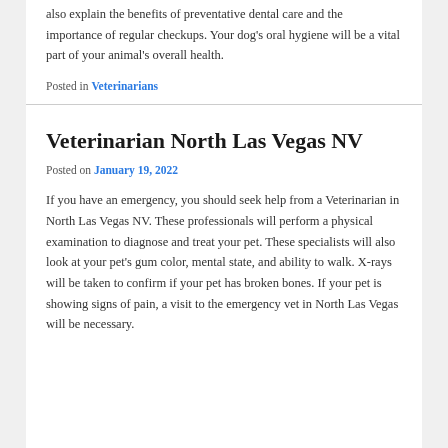also explain the benefits of preventative dental care and the importance of regular checkups. Your dog's oral hygiene will be a vital part of your animal's overall health.
Posted in Veterinarians
Veterinarian North Las Vegas NV
Posted on January 19, 2022
If you have an emergency, you should seek help from a Veterinarian in North Las Vegas NV. These professionals will perform a physical examination to diagnose and treat your pet. These specialists will also look at your pet's gum color, mental state, and ability to walk. X-rays will be taken to confirm if your pet has broken bones. If your pet is showing signs of pain, a visit to the emergency vet in North Las Vegas will be necessary.